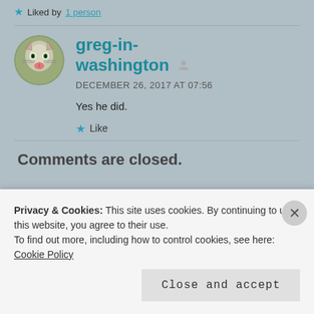★ Liked by 1 person
greg-in-washington
DECEMBER 26, 2017 AT 07:56
Yes he did.
★ Like
Comments are closed.
Privacy & Cookies: This site uses cookies. By continuing to use this website, you agree to their use.
To find out more, including how to control cookies, see here: Cookie Policy
Close and accept